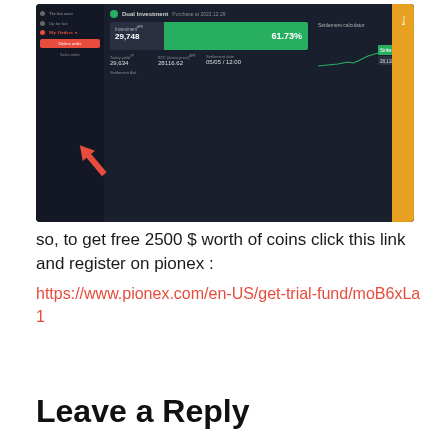[Figure (screenshot): Screenshot of Pionex trading platform showing Dual Investment feature with investment amount 29,748, APR 61.73%, a green line chart showing settlement value, strike price box showing 28,118.42, and a large red arrow pointing to the active Orders section in sidebar.]
so, to get free 2500 $ worth of coins click this link and register on pionex : https://www.pionex.com/en-US/get-trial-fund/moB6xLa1
Leave a Reply